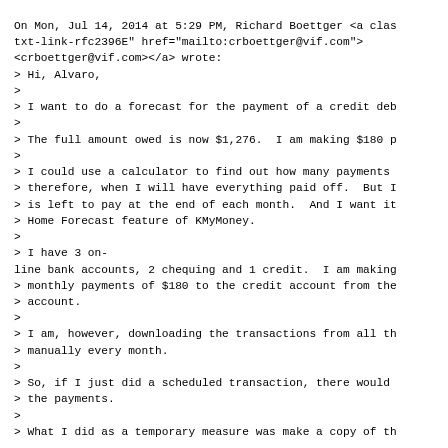On Mon, Jul 14, 2014 at 5:29 PM, Richard Boettger <a clas
txt-link-rfc2396E" href="mailto:crboettger@vif.com">
<crboettger@vif.com></a> wrote:
> Hi, Alvaro,
>
> I want to do a forecast for the payment of a credit deb
>
> The full amount owed is now $1,276.  I am making $180 p
>
> I could use a calculator to find out how many payments
> therefore, when I will have everything paid off.  But I
> is left to pay at the end of each month.  And I want it
> Home Forecast feature of KMyMoney.
>
> I have 3 on-
line bank accounts, 2 chequing and 1 credit.  I am making
> monthly payments of $180 to the credit account from the
> account.
>
> I am, however, downloading the transactions from all th
> manually every month.
>
> So, if I just did a scheduled transaction, there would
> the payments.
>
> What I did as a temporary measure was make a copy of th